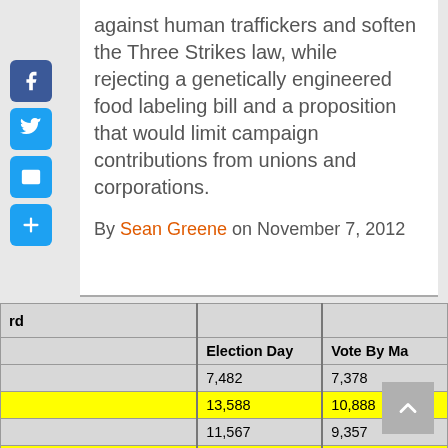against human traffickers and soften the Three Strikes law, while rejecting a genetically engineered food labeling bill and a proposition that would limit campaign contributions from unions and corporations.
By Sean Greene on November 7, 2012
| rd | Election Day | Vote By Ma... |
| --- | --- | --- |
|  | 7,482 | 7,378 |
|  | 13,588 | 10,888 |
|  | 11,567 | 9,357 |
|  | 12,215 | 11,282 |
|  | 152 | 156 |
| ed School |  |  |